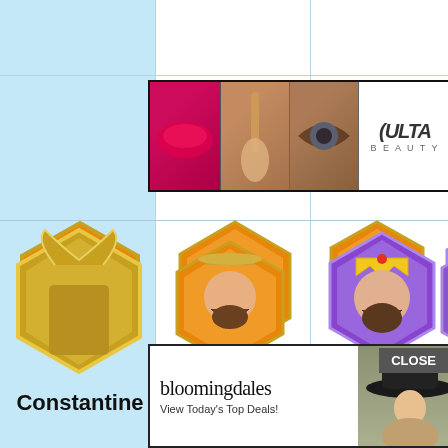[Figure (screenshot): ULTA Beauty advertisement banner with makeup imagery - lips, brush, eye closeup, ULTA logo, eye makeup photo, SHOP NOW button]
[Figure (illustration): Constantine character hexagonal icon - orange background with armored male figure]
Constantine
[Figure (illustration): Charles Martel character hexagonal icon - orange background]
Charles
Martel
[Figure (illustration): Two small skill icons for Charles Martel]
[Figure (illustration): Alexander character hexagonal icon - orange background with armored king figure]
Alexander
[Figure (illustration): One small skill icon for Alexander]
[Figure (illustration): Joan of Arc partial character icon - purple background]
Joa
A
[Figure (illustration): Samurai/warrior character partial hexagonal icon - gold/bronze bottom row]
[Figure (illustration): Asian commander character hexagonal icon - orange background with bearded figure]
[Figure (illustration): King character hexagonal icon - purple background with bearded crowned figure]
[Figure (illustration): Partially visible turban character - purple background, right edge]
Bail
[Figure (screenshot): Bloomingdale's advertisement banner - logo, View Today's Top Deals!, woman with hat illustration, SHOP NOW button, CLOSE button]